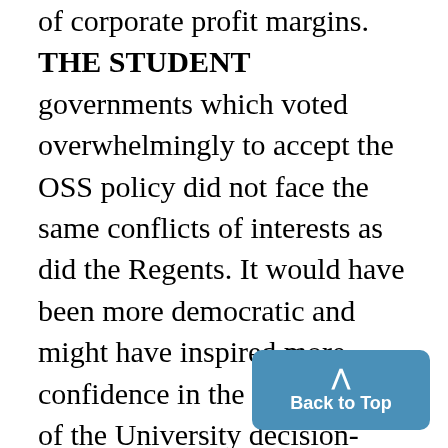of corporate profit margins. THE STUDENT governments which voted overwhelmingly to accept the OSS policy did not face the same conflicts of interests as did the Regents. It would have been more democratic and might have inspired more confidence in the legitimacy of the University decision-making process had students been permitted to adjudicate the matter. If the OSS policy were adopted, the University would make about $250,000 yearly selling placement services n o w provided free. It would be espe[cially ap]propriate to apply this sum to [the]